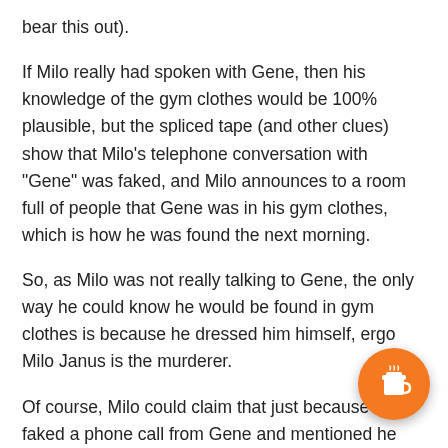bear this out).
If Milo really had spoken with Gene, then his knowledge of the gym clothes would be 100% plausible, but the spliced tape (and other clues) show that Milo’s telephone conversation with “Gene” was faked, and Milo announces to a room full of people that Gene was in his gym clothes, which is how he was found the next morning.
So, as Milo was not really talking to Gene, the only way he could know he would be found in gym clothes is because he dressed him himself, ergo Milo Janus is the murderer.
Of course, Milo could claim that just because he faked a phone call from Gene and mentioned he was in gym clothes does not mean that Gene’s death was not an accident, but taking into account all the financial evidence that you mentioned, tha… is right up there with “That is my fingerprint…
Loading...